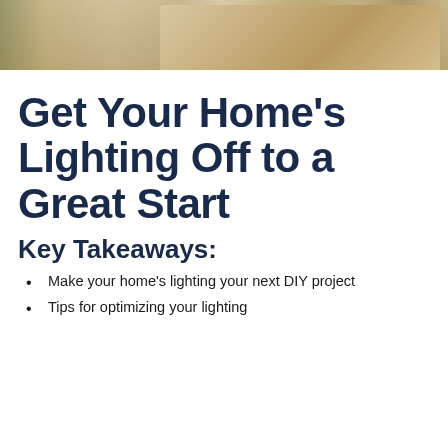[Figure (photo): Photo of two people sitting on the floor among moving boxes, reviewing documents or plans, with plants and cardboard boxes in the background.]
Get Your Home's Lighting Off to a Great Start
Key Takeaways:
Make your home's lighting your next DIY project
Tips for optimizing your lighting